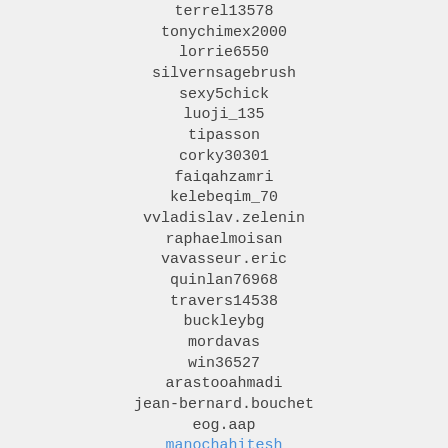terrel13578
tonychimex2000
lorrie6550
silvernsagebrush
sexy5chick
luoji_135
tipasson
corky30301
faiqahzamri
kelebeqim_70
vvladislav.zelenin
raphaelmoisan
vavasseur.eric
quinlan76968
travers14538
buckleybg
mordavas
win36527
arastooahmadi
jean-bernard.bouchet
eog.aap
manochahitesh
mixchic07
skip92560
fester05500